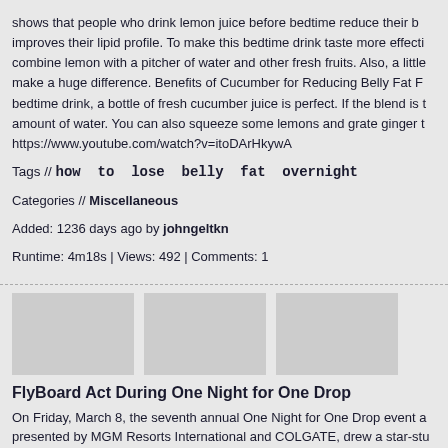shows that people who drink lemon juice before bedtime reduce their b... improves their lipid profile. To make this bedtime drink taste more effecti... combine lemon with a pitcher of water and other fresh fruits. Also, a little... make a huge difference. Benefits of Cucumber for Reducing Belly Fat F... bedtime drink, a bottle of fresh cucumber juice is perfect. If the blend is t... amount of water. You can also squeeze some lemons and grate ginger t... https://www.youtube.com/watch?v=itoDArHkywA
Tags // how to lose belly fat overnight
Categories // Miscellaneous
Added: 1236 days ago by johngeltkn
Runtime: 4m18s | Views: 492 | Comments: 1
[Figure (photo): Three gray placeholder thumbnail images side by side]
FlyBoard Act During One Night for One Drop
On Friday, March 8, the seventh annual One Night for One Drop event a... presented by MGM Resorts International and COLGATE, drew a star-stu... of the one-night-only soirée benefiting the One Drop Foundation, a non-... dedicated to providing access to safe water and sanitation around the gl... du Soleil, One Night for One Drop mesmerized the sold-out audience wi... performance that took the spectators on an empathetic journey, drawing... connection, friendship, beauty, nature, love and loss, in an aquatic ambi... multimedia release go to: https://www.multivu.com/players/English/8510... drop-foundation-cirque-du-soleil/